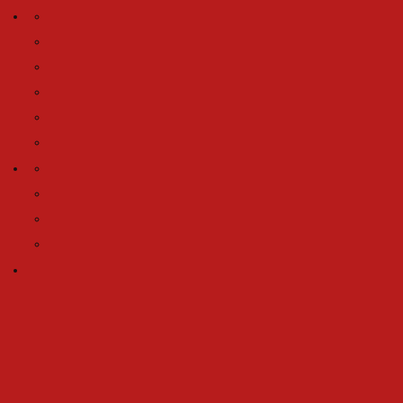• (bullet with sub-items circles)
• (bullet with sub-items circles)
• (bullet)
Navigation (dropdown) | Post an Ad
Ad
What are you looking for?
- - Reloading
Home » Accessories » New Accessories » Reloading » H&N .177cal 8.64 Round nose match grade pellets Tin of 500 $ 21.15
$21.15
H&N .177cal 8.64 Round nose match grade pellet
Street: Owen Guns 24 McMahon Road P/N 07 54825070